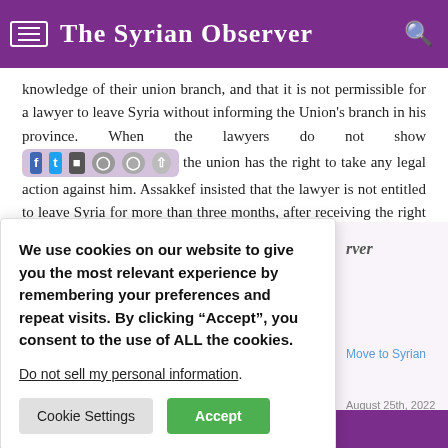The Syrian Observer
knowledge of their union branch, and that it is not permissible for a lawyer to leave Syria without informing the Union's branch in his province. When the lawyers do not show compliance to the rules, the union has the right to take any legal action against him. Assakkef insisted that the lawyer is not entitled to leave Syria for more than three months, after receiving the right documents.
We use cookies on our website to give you the most relevant experience by remembering your preferences and repeat visits. By clicking “Accept”, you consent to the use of ALL the cookies.
Do not sell my personal information.
Move to Syrian
August 25th, 2022
Subscribe to our newsletter Syrian Brotherhood: We will not accept Uprooting...